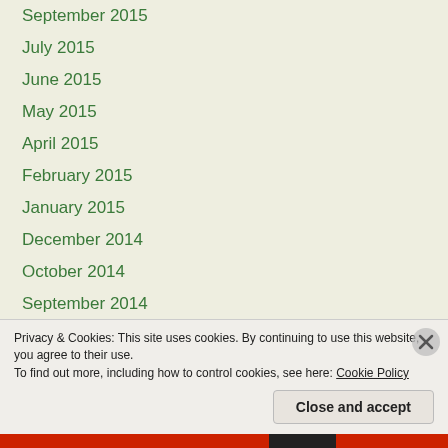September 2015
July 2015
June 2015
May 2015
April 2015
February 2015
January 2015
December 2014
October 2014
September 2014
July 2014
Privacy & Cookies: This site uses cookies. By continuing to use this website, you agree to their use. To find out more, including how to control cookies, see here: Cookie Policy
Close and accept